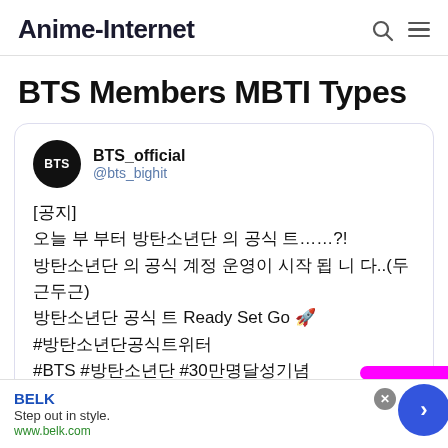Anime-Internet
BTS Members MBTI Types
[Figure (screenshot): Embedded tweet from BTS_official (@bts_bighit) with Korean text and hashtags including #BTS, Ready Set Go, and #30.]
BELK
Step out in style.
www.belk.com